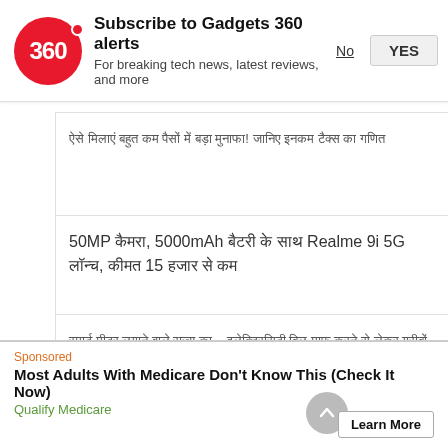[Figure (logo): Gadgets 360 red circle logo with '360' text]
Subscribe to Gadgets 360 alerts
For breaking tech news, latest reviews, and more
No
YES
ऐसे मिलाएं बहुत कम पैसों में बड़ा मुनाफा! जानिए इनकम टैक्स का गणित
50MP कैमरा, 5000mAh बैटरी के साथ Realme 9i 5G लॉन्च, कीमत 15 हजार से कम
स्मार्ट मीटर लगाने वाले राज्य का... इलेक्ट्रिसिटी बिल माफ करने से लेकर गरीबों की मदद करने तक किये वादे, जानें ताजा खबरें
Sponsored
Most Adults With Medicare Don't Know This (Check It Now)
Qualify Medicare
Learn More